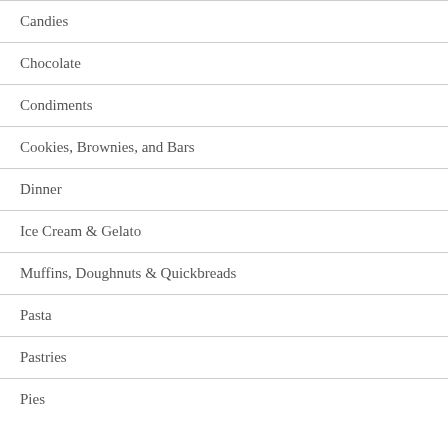Candies
Chocolate
Condiments
Cookies, Brownies, and Bars
Dinner
Ice Cream & Gelato
Muffins, Doughnuts & Quickbreads
Pasta
Pastries
Pies